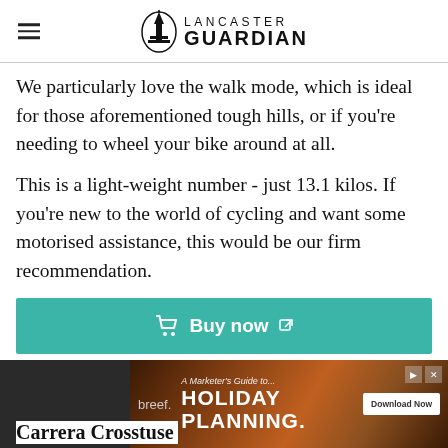Lancaster Guardian
We particularly love the walk mode, which is ideal for those aforementioned tough hills, or if you’re needing to wheel your bike around at all.
This is a light-weight number - just 13.1 kilos. If you’re new to the world of cycling and want some motorised assistance, this would be our firm recommendation.
[Figure (screenshot): Buy now button with shopping cart icon on teal background]
[Figure (screenshot): Advertisement banner for breef - A Marketer's Guide to Holiday Planning with Download Now button]
Carrera Crosstuse